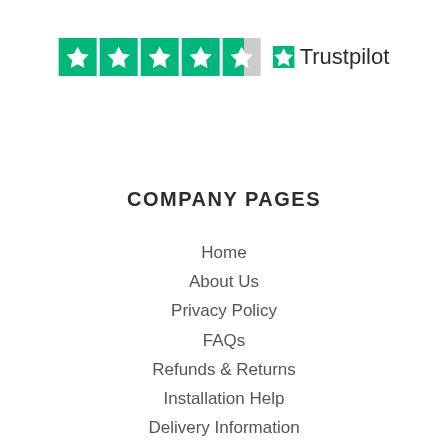[Figure (logo): Trustpilot rating logo showing 4.5 green stars and the Trustpilot brand name with star icon]
COMPANY PAGES
Home
About Us
Privacy Policy
FAQs
Refunds & Returns
Installation Help
Delivery Information
Bulk Discounts
Terms & Conditions